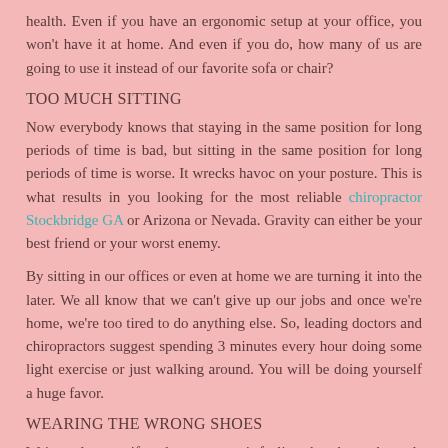health. Even if you have an ergonomic setup at your office, you won't have it at home. And even if you do, how many of us are going to use it instead of our favorite sofa or chair?
TOO MUCH SITTING
Now everybody knows that staying in the same position for long periods of time is bad, but sitting in the same position for long periods of time is worse. It wrecks havoc on your posture. This is what results in you looking for the most reliable chiropractor Stockbridge GA or Arizona or Nevada. Gravity can either be your best friend or your worst enemy.
By sitting in our offices or even at home we are turning it into the later. We all know that we can't give up our jobs and once we're home, we're too tired to do anything else. So, leading doctors and chiropractors suggest spending 3 minutes every hour doing some light exercise or just walking around. You will be doing yourself a huge favor.
WEARING THE WRONG SHOES
We're truly sorry if we hurt someone's feelings but the truth needs to be said. High heels are definitely not good for your posture. They affect